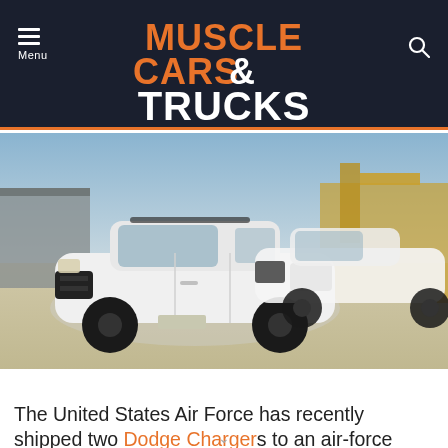Muscle Cars & Trucks
[Figure (photo): Two white Dodge Charger police/security vehicles parked on a lot, with industrial equipment visible in the background under a blue sky.]
The United States Air Force has recently shipped two Dodge Chargers to an air-force base in the U.K. for a